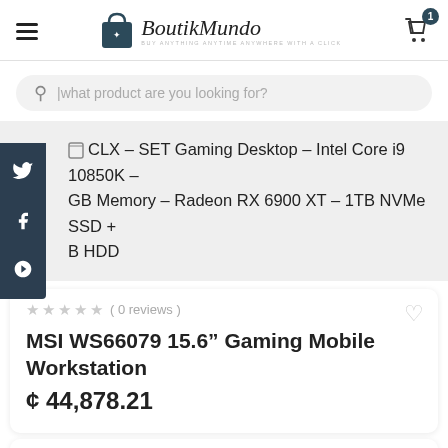BoutikMundo - BUY ANYTHING ANYTIME ANYWHERE WITH A CLICK
What product are you looking for?
CLX – SET Gaming Desktop – Intel Core i9 10850K – GB Memory – Radeon RX 6900 XT – 1TB NVMe SSD + B HDD
( 0 reviews )
MSI WS66079 15.6" Gaming Mobile Workstation
¢ 44,878.21